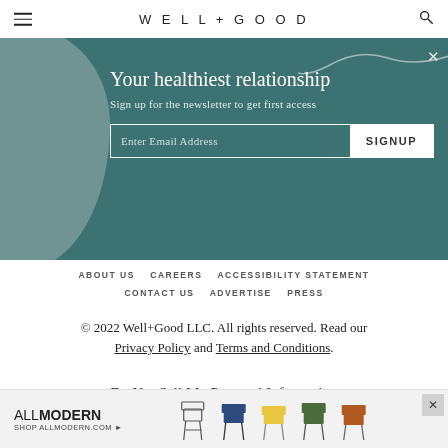WELL+GOOD
[Figure (screenshot): Teal newsletter signup modal with title 'Your healthiest relationship', subtitle 'Sign up for the newsletter to get first access', email input field and SIGNUP button]
ABOUT US   CAREERS   ACCESSIBILITY STATEMENT
CONTACT US   ADVERTISE   PRESS
© 2022 Well+Good LLC. All rights reserved. Read our Privacy Policy and Terms and Conditions.
Do Not Sell My Personal Information
[Figure (screenshot): AllModern advertisement banner showing chairs and text 'SHOP ALLMODERN.COM']